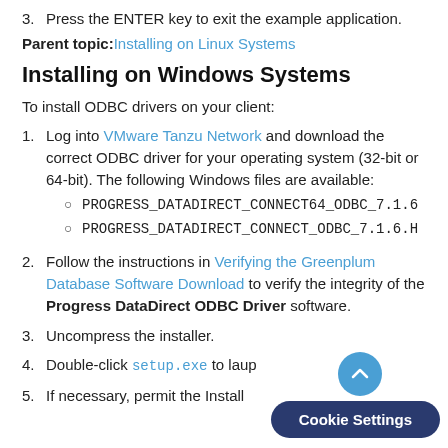3. Press the ENTER key to exit the example application.
Parent topic: Installing on Linux Systems
Installing on Windows Systems
To install ODBC drivers on your client:
1. Log into VMware Tanzu Network and download the correct ODBC driver for your operating system (32-bit or 64-bit). The following Windows files are available: PROGRESS_DATADIRECT_CONNECT64_ODBC_7.1.6... PROGRESS_DATADIRECT_CONNECT_ODBC_7.1.6.H...
2. Follow the instructions in Verifying the Greenplum Database Software Download to verify the integrity of the Progress DataDirect ODBC Driver software.
3. Uncompress the installer.
4. Double-click setup.exe to laun...
5. If necessary, permit the Install...